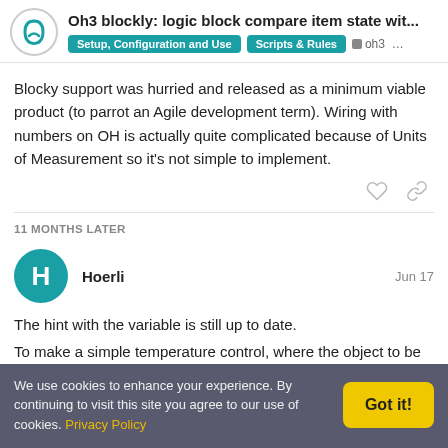Oh3 blockly: logic block compare item state wit...
Blocky support was hurried and released as a minimum viable product (to parrot an Agile development term). Wiring with numbers on OH is actually quite complicated because of Units of Measurement so it's not simple to implement.
11 MONTHS LATER
Hoerli   Jun 17
The hint with the variable is still up to date.
To make a simple temperature control, where the object to be
We use cookies to enhance your experience. By continuing to visit this site you agree to our use of cookies. Privacy Policy